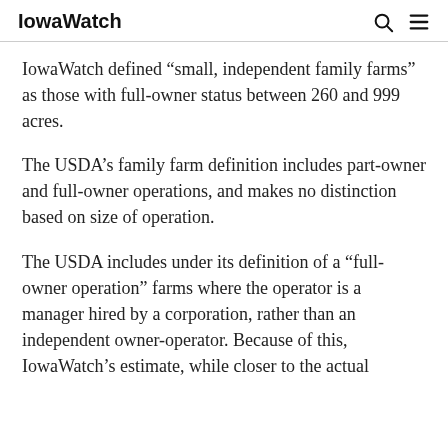IowaWatch
IowaWatch defined “small, independent family farms” as those with full-owner status between 260 and 999 acres.
The USDA’s family farm definition includes part-owner and full-owner operations, and makes no distinction based on size of operation.
The USDA includes under its definition of a “full-owner operation” farms where the operator is a manager hired by a corporation, rather than an independent owner-operator. Because of this, IowaWatch’s estimate, while closer to the actual